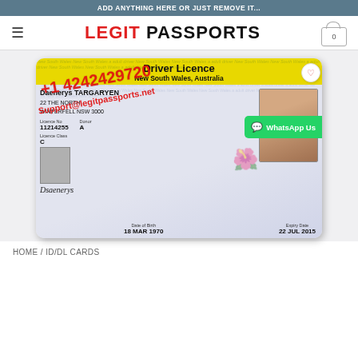ADD ANYTHING HERE OR JUST REMOVE IT...
LEGIT PASSPORTS
[Figure (photo): NSW Driver Licence card for Daenerys TARGARYEN, with overlaid red contact text (+1 4242429720, Support@legitpassports.net) and a WhatsApp Us button. Card shows: Driver Licence, New South Wales, Australia. Name: Daenerys TARGARYEN. Address: 22 THE NORTH, WINTERFELL NSW 3000. Licence No: 11214255. Donor: A. Licence Class: C. Date of Birth: 18 MAR 1970. Expiry Date: 22 JUL 2015.]
HOME / ID/DL CARDS